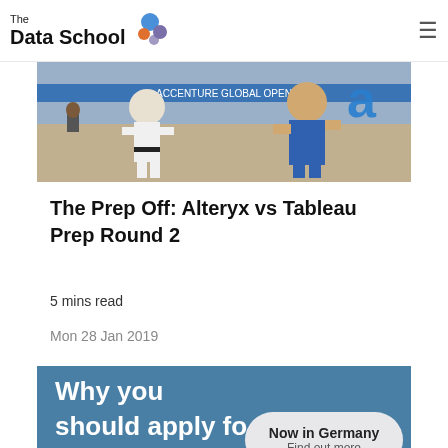The Data School
[Figure (photo): Screenshot of a video game fighting scene with two characters — one in white martial arts outfit and one in blue — in an arcade-style arena]
The Prep Off: Alteryx vs Tableau Prep Round 2
5 mins read
Mon 28 Jan 2019
[Figure (photo): Blue banner image with large white text reading 'Why you should apply fo... The' and a tooltip bubble overlay saying 'Now in Germany — Find out more']